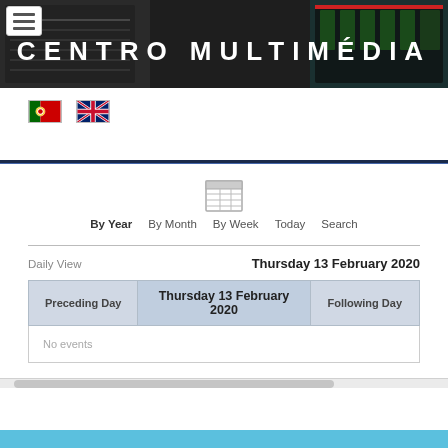[Figure (screenshot): Website header banner for Centro Multimédia with dark background showing multimedia equipment]
CENTRO MULTIMÉDIA
[Figure (illustration): Portuguese flag and UK flag icons for language selection]
[Figure (screenshot): Calendar navigation icon (table/grid icon)]
By Year   By Month   By Week   Today   Search
Daily View
Thursday 13 February 2020
| Preceding Day | Thursday 13 February 2020 | Following Day |
| --- | --- | --- |
| No events |  |  |